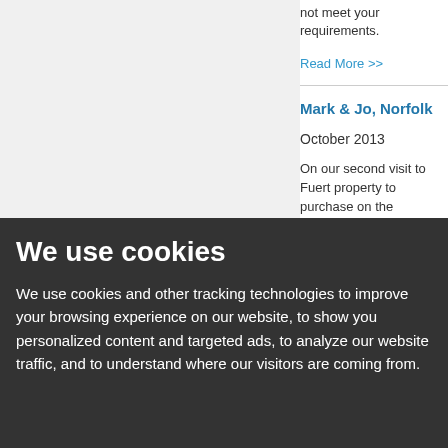not meet your requirements.
Read More >>
Mark & Jo, Norfolk
October 2013
On our second visit to Fuert property to purchase on the
We went to see one of the is a few properties to get in ou one, if you like.  However uncomfortable as we were interests, only theirs.  We wa
Read More >>
July 2013
Many thanks to Roy and Ne
We use cookies
We use cookies and other tracking technologies to improve your browsing experience on our website, to show you personalized content and targeted ads, to analyze our website traffic, and to understand where our visitors are coming from.